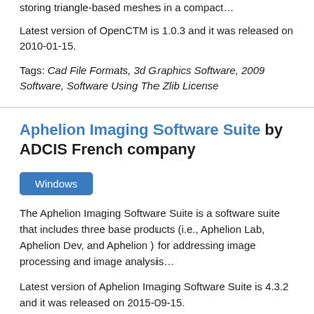storing triangle-based meshes in a compact…
Latest version of OpenCTM is 1.0.3 and it was released on 2010-01-15.
Tags: Cad File Formats, 3d Graphics Software, 2009 Software, Software Using The Zlib License
Aphelion Imaging Software Suite by ADCIS French company
Windows
The Aphelion Imaging Software Suite is a software suite that includes three base products (i.e., Aphelion Lab, Aphelion Dev, and Aphelion ) for addressing image processing and image analysis…
Latest version of Aphelion Imaging Software Suite is 4.3.2 and it was released on 2015-09-15.
Tags: 1996 Software, 3d Graphics Software, 3d…